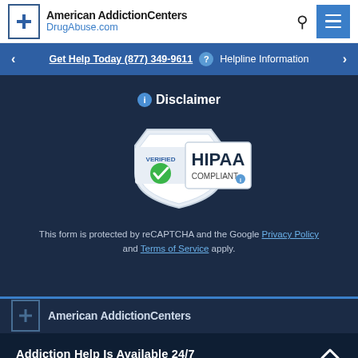[Figure (logo): American Addiction Centers DrugAbuse.com logo with blue cross icon]
Get Help Today (877) 349-9611 ? Helpline Information
Disclaimer
[Figure (logo): HIPAA Compliant Verified badge with shield and green checkmark]
This form is protected by reCAPTCHA and the Google Privacy Policy and Terms of Service apply.
[Figure (logo): American Addiction Centers logo icon at bottom]
American AddictionCenters
Addiction Help Is Available 24/7